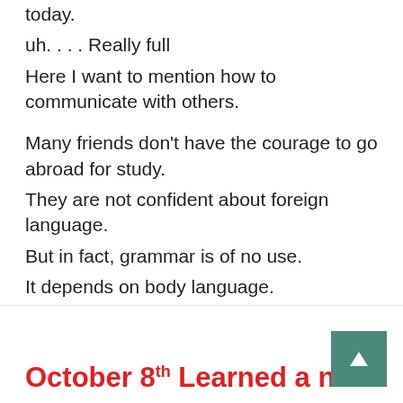25 years are not as many as those of one surgery today.
uh. . . . Really full
Here I want to mention how to communicate with others.
Many friends don't have the courage to go abroad for study.
They are not confident about foreign language.
But in fact, grammar is of no use.
It depends on body language.
Don't be afraid and believe yourself.
[Figure (illustration): Small icon image with Japanese/Chinese characters label]
October 8th Learned a new